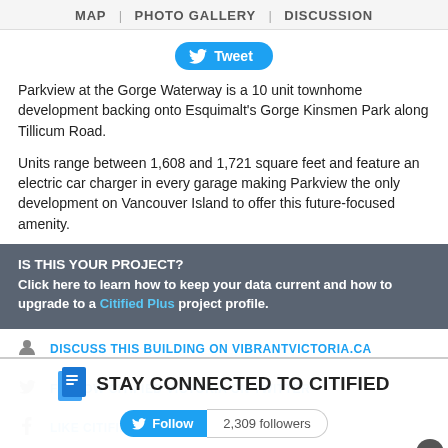MAP | PHOTO GALLERY | DISCUSSION
[Figure (other): Tweet button - blue pill shaped button with Twitter bird icon and text 'Tweet']
Parkview at the Gorge Waterway is a 10 unit townhome development backing onto Esquimalt's Gorge Kinsmen Park along Tillicum Road.
Units range between 1,608 and 1,721 square feet and feature an electric car charger in every garage making Parkview the only development on Vancouver Island to offer this future-focused amenity.
IS THIS YOUR PROJECT?
Click here to learn how to keep your data current and how to upgrade to a Citified Plus project profile.
DISCUSS THIS BUILDING ON VIBRANTVICTORIA.CA
FOLLOW CITIFIED VICTORIA ON TWITTER
LIKE CITIFIED VICTORIA ON FACEBOOK
MORE PROJECTS | BUILDINGS
PROJECT DATA
[Figure (infographic): Stay Connected to Citified banner with Twitter Follow button showing 2,309 followers]